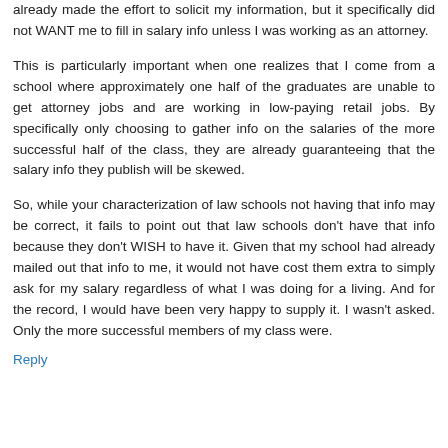already made the effort to solicit my information, but it specifically did not WANT me to fill in salary info unless I was working as an attorney.
This is particularly important when one realizes that I come from a school where approximately one half of the graduates are unable to get attorney jobs and are working in low-paying retail jobs. By specifically only choosing to gather info on the salaries of the more successful half of the class, they are already guaranteeing that the salary info they publish will be skewed.
So, while your characterization of law schools not having that info may be correct, it fails to point out that law schools don't have that info because they don't WISH to have it. Given that my school had already mailed out that info to me, it would not have cost them extra to simply ask for my salary regardless of what I was doing for a living. And for the record, I would have been very happy to supply it. I wasn't asked. Only the more successful members of my class were.
Reply